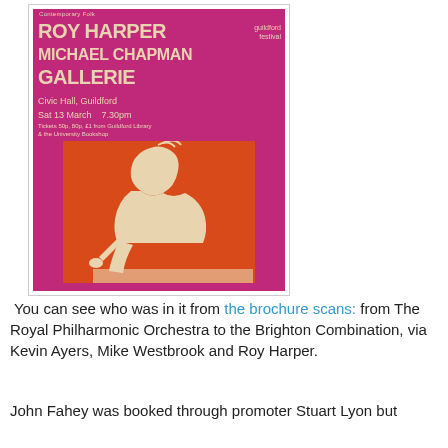[Figure (photo): A photograph of a concert poster for Roy Harper, Michael Chapman, and Gallerie at Civic Hall, Guildford, Sat 13 March, 7.30pm. Tickets 50p, 80p, £1 from Guildford Library & the University Bookshop. Poster has a magenta/pink background with cream text and an orange panel showing a silhouette of a person at a microphone.]
You can see who was in it from the brochure scans: from The Royal Philharmonic Orchestra to the Brighton Combination, via Kevin Ayers, Mike Westbrook and Roy Harper.
John Fahey was booked through promoter Stuart Lyon but the...